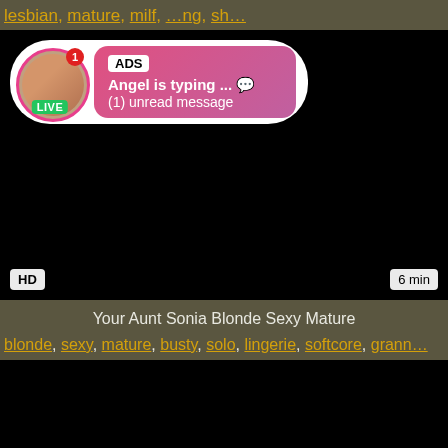lesbian, …, mature, milf, …ng, sh…
[Figure (screenshot): Video thumbnail with black background, HD badge bottom-left, 6 min duration bottom-right, and an ad overlay at top showing a circular avatar with LIVE badge, notification badge, and a pink gradient message bubble reading 'ADS / Angel is typing ... / (1) unread message']
Your Aunt Sonia Blonde Sexy Mature
blonde, sexy, mature, busty, solo, lingerie, softcore, grann…
[Figure (screenshot): Second video thumbnail, black background, partially visible at bottom of page]